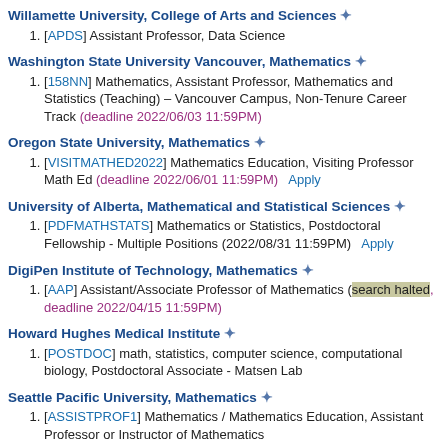Willamette University, College of Arts and Sciences ✦
[APDS] Assistant Professor, Data Science
Washington State University Vancouver, Mathematics ✦
[158NN] Mathematics, Assistant Professor, Mathematics and Statistics (Teaching) – Vancouver Campus, Non-Tenure Career Track (deadline 2022/06/03 11:59PM)
Oregon State University, Mathematics ✦
[VISITMATHED2022] Mathematics Education, Visiting Professor Math Ed (deadline 2022/06/01 11:59PM)  Apply
University of Alberta, Mathematical and Statistical Sciences ✦
[PDFMATHSTATS] Mathematics or Statistics, Postdoctoral Fellowship - Multiple Positions (2022/08/31 11:59PM)  Apply
DigiPen Institute of Technology, Mathematics ✦
[AAP] Assistant/Associate Professor of Mathematics (search halted, deadline 2022/04/15 11:59PM)
Howard Hughes Medical Institute ✦
[POSTDOC] math, statistics, computer science, computational biology, Postdoctoral Associate - Matsen Lab
Seattle Pacific University, Mathematics ✦
[ASSISTPROF1] Mathematics / Mathematics Education, Assistant Professor or Instructor of Mathematics